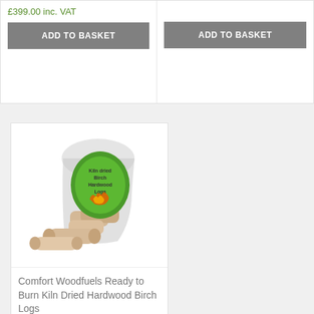£399.00 inc. VAT
ADD TO BASKET
ADD TO BASKET
[Figure (photo): Bag of Comfort Woodfuels Ready to Burn Kiln Dried Hardwood Birch Logs — a clear plastic bag with a green branded label, with birch wood logs visible inside and loose logs in front]
Comfort Woodfuels Ready to Burn Kiln Dried Hardwood Birch Logs
£5.95 – £389.00 inc. VAT